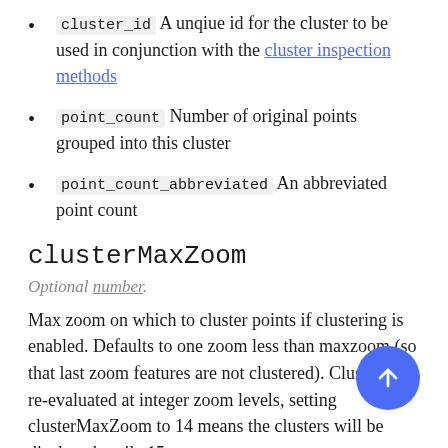cluster_id A unique id for the cluster to be used in conjunction with the cluster inspection methods
point_count Number of original points grouped into this cluster
point_count_abbreviated An abbreviated point count
clusterMaxZoom
Optional number.
Max zoom on which to cluster points if clustering is enabled. Defaults to one zoom less than maxzoom (so that last zoom features are not clustered). Clusters are re-evaluated at integer zoom levels, setting clusterMaxZoom to 14 means the clusters will be displayed until z15.